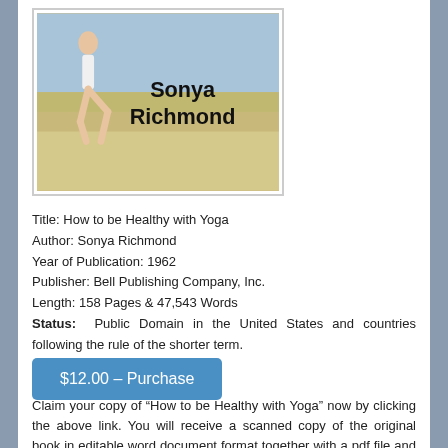[Figure (illustration): Book cover image showing a person on a beach with text 'Sonya Richmond']
Title: How to be Healthy with Yoga
Author: Sonya Richmond
Year of Publication: 1962
Publisher: Bell Publishing Company, Inc.
Length: 158 Pages & 47,543 Words
Status: Public Domain in the United States and countries following the rule of the shorter term.
$12.00 – Purchase
Claim your copy of “How to be Healthy with Yoga” now by clicking the above link. You will receive a scanned copy of the original book in editable word document format together with a pdf file and flat e-cover in five different sizes.